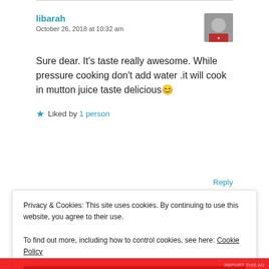libarah
October 26, 2018 at 10:32 am
Sure dear. It's taste really awesome. While pressure cooking don't add water .it will cook in mutton juice taste delicious😊
★ Liked by 1 person
Reply
Privacy & Cookies: This site uses cookies. By continuing to use this website, you agree to their use.
To find out more, including how to control cookies, see here: Cookie Policy
Close and accept